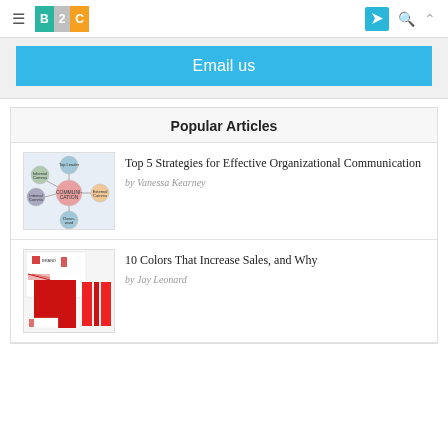B2C — Business 2 Community navigation bar
Email us
Popular Articles
[Figure (infographic): Organizational communication diagram with interconnected circles]
Top 5 Strategies for Effective Organizational Communication
by Vanessa Kearney
[Figure (photo): Red branding/design materials layout with stationery]
10 Colors That Increase Sales, and Why
by Jay Leonard